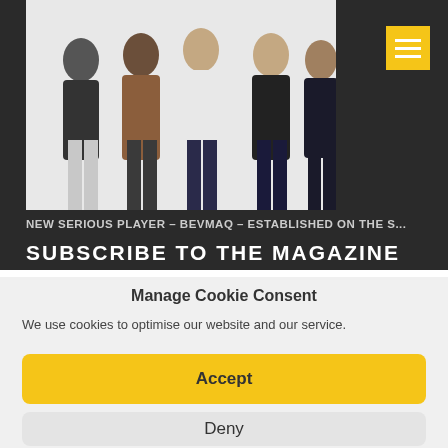[Figure (photo): Photo of four men standing together against a white background, shown from waist up]
NEW SERIOUS PLAYER – BEVMAQ – ESTABLISHED ON THE S...
SUBSCRIBE TO THE MAGAZINE
Manage Cookie Consent
We use cookies to optimise our website and our service.
Accept
Deny